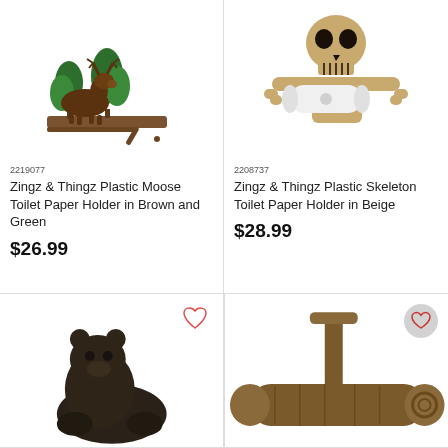[Figure (photo): Zingz & Thingz Plastic Moose Toilet Paper Holder in Brown and Green - product photo showing a moose and trees figurine wall-mounted toilet paper holder]
2219077
Zingz & Thingz Plastic Moose Toilet Paper Holder in Brown and Green
$26.99
[Figure (photo): Zingz & Thingz Plastic Skeleton Toilet Paper Holder in Beige - product photo showing a skeleton figure holding a toilet paper roll]
2208737
Zingz & Thingz Plastic Skeleton Toilet Paper Holder in Beige
$28.99
[Figure (photo): Bottom left product - dark animal figurine toilet paper holder, partially visible]
[Figure (photo): Bottom right product - wood log style toilet paper holder, partially visible]